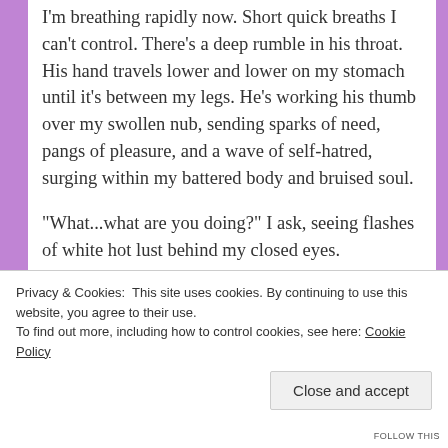I'm breathing rapidly now. Short quick breaths I can't control. There's a deep rumble in his throat. His hand travels lower and lower on my stomach until it's between my legs. He's working his thumb over my swollen nub, sending sparks of need, pangs of pleasure, and a wave of self-hatred, surging within my battered body and bruised soul.

"What...what are you doing?" I ask, seeing flashes of white hot lust behind my closed eyes.

"More questions..." his voice a hearty amused rasp. His fingers circle my clit while he continues to rock his hard cock between my legs. The pressure
Privacy & Cookies: This site uses cookies. By continuing to use this website, you agree to their use.
To find out more, including how to control cookies, see here: Cookie Policy
Close and accept